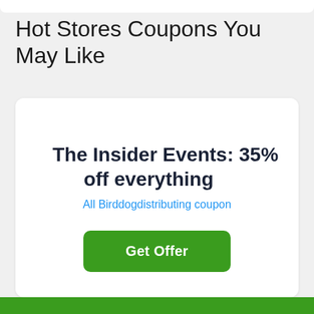Hot Stores Coupons You May Like
The Insider Events: 35% off everything
All Birddogdistributing coupon
Get Offer